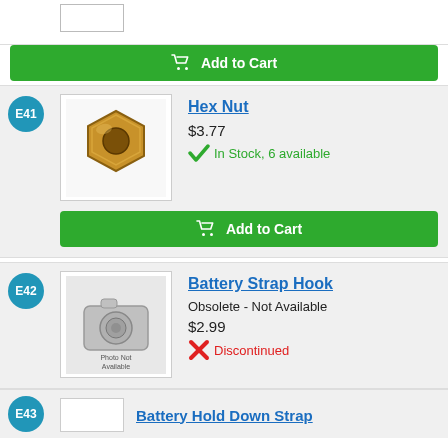[Figure (other): Quantity input box for previous product]
Add to Cart
E41
[Figure (photo): Photo of a gold/bronze hex nut]
Hex Nut
$3.77
In Stock, 6 available
Add to Cart
E42
[Figure (photo): Photo Not Available placeholder image]
Battery Strap Hook
Obsolete - Not Available
$2.99
Discontinued
E43
Battery Hold Down Strap